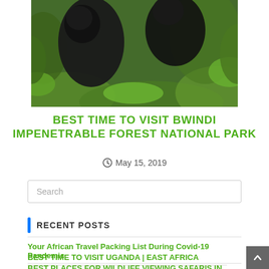[Figure (photo): Photo of a gorilla in green forest vegetation at Bwindi Impenetrable Forest National Park]
BEST TIME TO VISIT BWINDI IMPENETRABLE FOREST NATIONAL PARK
May 15, 2019
Search
RECENT POSTS
Your African Travel Packing List During Covid-19 Pandemic
BEST TIME TO VISIT UGANDA | EAST AFRICA
BEST PLACES FOR WILDLIFE VIEWING SAFARIS IN UGANDA